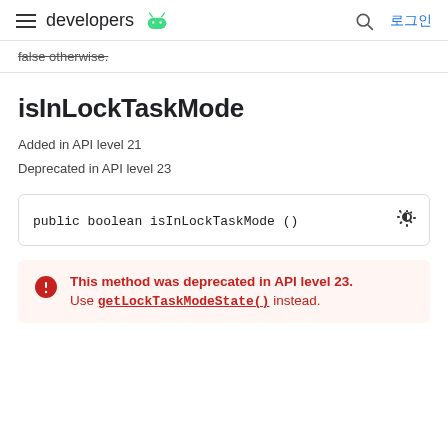developers 로그인
false otherwise.
isInLockTaskMode
Added in API level 21
Deprecated in API level 23
public boolean isInLockTaskMode ()
This method was deprecated in API level 23. Use getLockTaskModeState() instead.